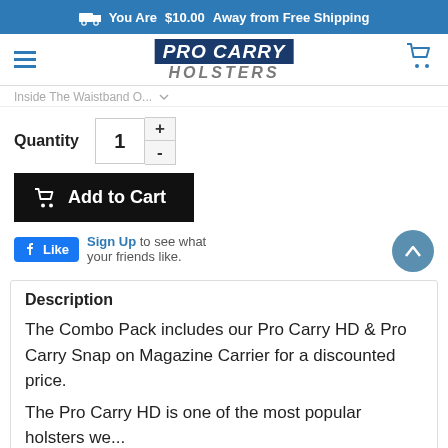You Are $10.00 Away from Free Shipping
[Figure (logo): Pro Carry Holsters logo with hamburger menu and cart icon navigation bar]
Inside The Waistband O... [dropdown]
Quantity  1  +  -
Add to Cart
Like  Sign Up to see what your friends like.
Description
The Combo Pack includes our Pro Carry HD & Pro Carry Snap on Magazine Carrier for a discounted price.
The Pro Carry HD is one of the most popular holsters we...